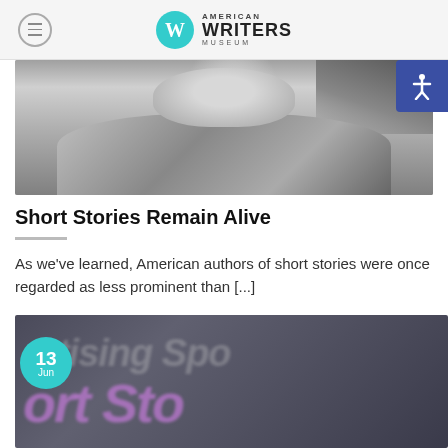American Writers Museum
[Figure (photo): Black and white photograph of a person in a suit, partially visible, cropped close]
Short Stories Remain Alive
As we've learned, American authors of short stories were once regarded as less prominent than [...]
[Figure (photo): Blurred image with partial text reading 'ertising Spo' and 'ort Sto' in large pink/purple lettering on dark background, with a date badge showing 13 Jun]